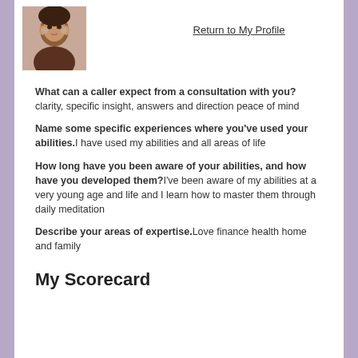[Figure (photo): Profile photo of a woman with dark hair]
Return to My Profile
What can a caller expect from a consultation with you? clarity, specific insight, answers and direction peace of mind
Name some specific experiences where you've used your abilities. I have used my abilities and all areas of life
How long have you been aware of your abilities, and how have you developed them? I've been aware of my abilities at a very young age and life and I learn how to master them through daily meditation
Describe your areas of expertise. Love finance health home and family
My Scorecard